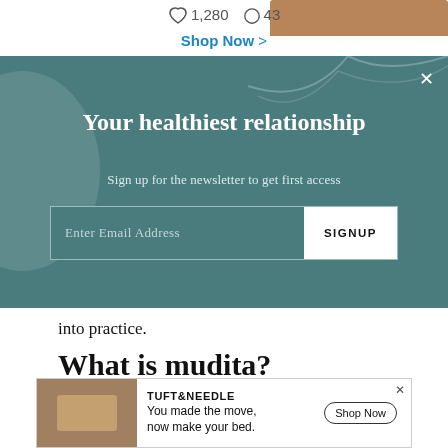[Figure (screenshot): Top bar showing social interaction counts (heart icon 1,280, comment icon 43) with a partial product image on the right]
Shop Now >
[Figure (infographic): Teal newsletter signup banner reading 'Your healthiest relationship' with subtitle 'Sign up for the newsletter to get first access' and an email input form with SIGNUP button]
into practice.
What is mudita?
Mudita is the third of the four immeasurables or highest states of being, also called divine abodes
[Figure (screenshot): Advertisement banner for TUFT & NEEDLE: 'You made the move, now make your bed.' with Shop Now button]